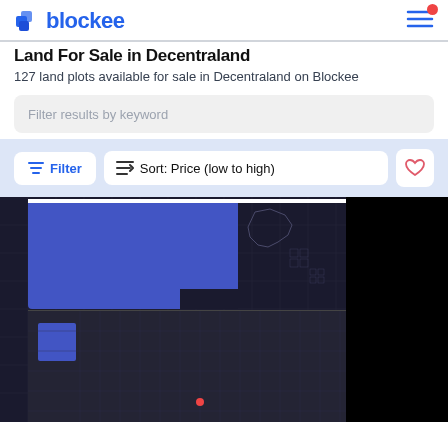blockee
Land For Sale in Decentraland
127 land plots available for sale in Decentraland on Blockee
Filter results by keyword
Filter | Sort: Price (low to high)
[Figure (screenshot): Decentraland map view showing blue highlighted land parcels on a dark grid background with some black regions]